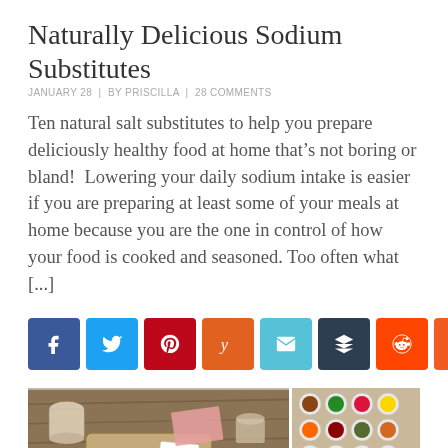Naturally Delicious Sodium Substitutes
JANUARY 28  |  BY PRISCILLA  |  28 COMMENTS
Ten natural salt substitutes to help you prepare deliciously healthy food at home that’s not boring or bland!  Lowering your daily sodium intake is easier if you are preparing at least some of your meals at home because you are the one in control of how your food is cooked and seasoned. Too often what [...]
[Figure (infographic): Row of 8 social share buttons: Facebook (blue), Twitter (light blue), Pinterest (red), Yummly (orange), Email (cyan), Buffer (dark navy), Reddit (orange-red), Mix (orange)]
[Figure (photo): Two side-by-side photos: left shows a wooden cribbage board with playing cards and beverages on a wooden table; right shows an assortment of spices in small bowls on a wooden board]